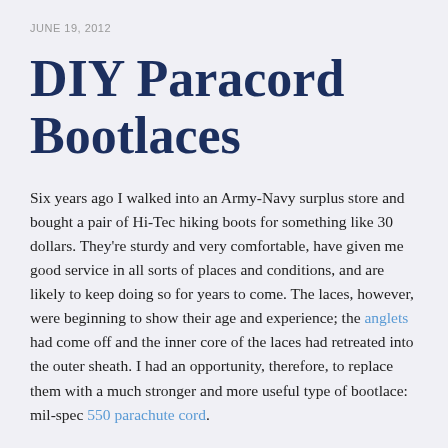JUNE 19, 2012
DIY Paracord Bootlaces
Six years ago I walked into an Army-Navy surplus store and bought a pair of Hi-Tec hiking boots for something like 30 dollars. They're sturdy and very comfortable, have given me good service in all sorts of places and conditions, and are likely to keep doing so for years to come. The laces, however, were beginning to show their age and experience; the anglets had come off and the inner core of the laces had retreated into the outer sheath. I had an opportunity, therefore, to replace them with a much stronger and more useful type of bootlace: mil-spec 550 parachute cord.